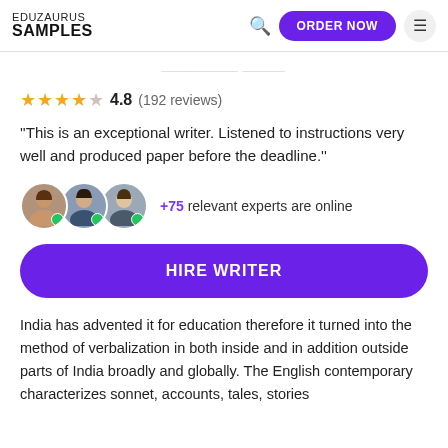EDUZAURUS SAMPLES
4.8 (192 reviews)
"This is an exceptional writer. Listened to instructions very well and produced paper before the deadline."
+75 relevant experts are online
HIRE WRITER
India has advented it for education therefore it turned into the method of verbalization in both inside and in addition outside parts of India broadly and globally. The English contemporary characterizes sonnet, accounts, tales, stories